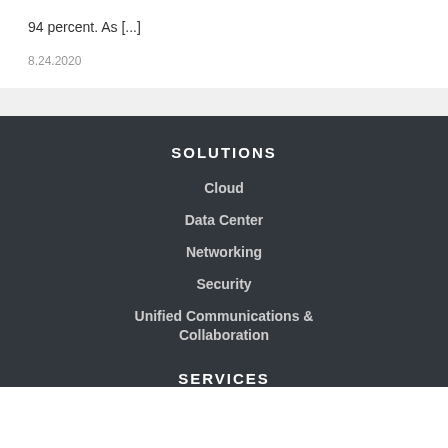94 percent. As [...]
8.24.2020
SOLUTIONS
Cloud
Data Center
Networking
Security
Unified Communications & Collaboration
SERVICES